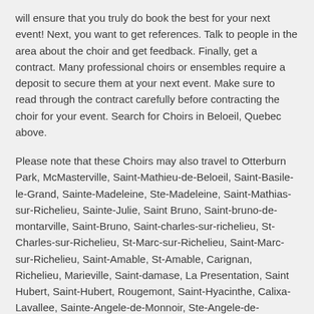will ensure that you truly do book the best for your next event! Next, you want to get references. Talk to people in the area about the choir and get feedback. Finally, get a contract. Many professional choirs or ensembles require a deposit to secure them at your next event. Make sure to read through the contract carefully before contracting the choir for your event. Search for Choirs in Beloeil, Quebec above.
Please note that these Choirs may also travel to Otterburn Park, McMasterville, Saint-Mathieu-de-Beloeil, Saint-Basile-le-Grand, Sainte-Madeleine, Ste-Madeleine, Saint-Mathias-sur-Richelieu, Sainte-Julie, Saint Bruno, Saint-bruno-de-montarville, Saint-Bruno, Saint-charles-sur-richelieu, St-Charles-sur-Richelieu, St-Marc-sur-Richelieu, Saint-Marc-sur-Richelieu, Saint-Amable, St-Amable, Carignan, Richelieu, Marieville, Saint-damase, La Presentation, Saint Hubert, Saint-Hubert, Rougemont, Saint-Hyacinthe, Calixa-Lavallee, Sainte-Angele-de-Monnoir, Ste-Angele-de-Monnoir, and Greenfield Park.